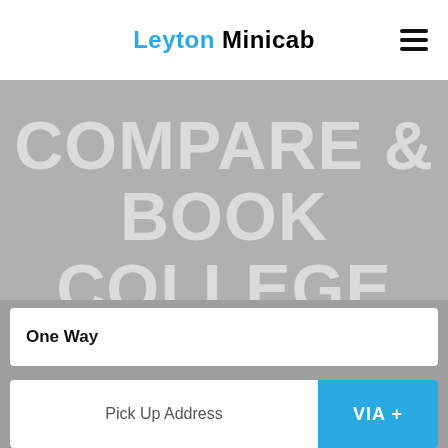Leyton Minicab
COMPARE & BOOK COLLEGE OF INTERNATIONAL EDUCATION (CIE)TAXIS
Compare Prices and take low fare trip, No booking fees, free cancellation and instant confirmation
One Way
Pick Up Address
VIA +